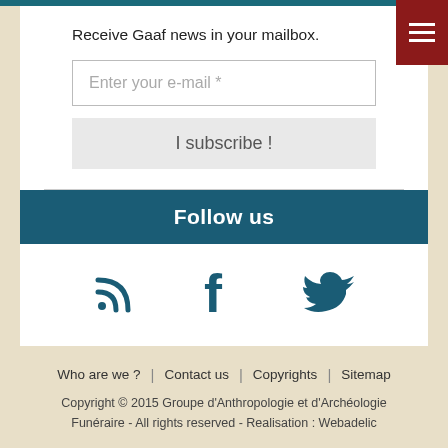Receive Gaaf news in your mailbox.
Enter your e-mail *
I subscribe !
Follow us
[Figure (illustration): RSS feed icon, Facebook icon, and Twitter bird icon, all in teal/dark blue color]
Who are we ? | Contact us | Copyrights | Sitemap
Copyright © 2015 Groupe d'Anthropologie et d'Archéologie Funéraire - All rights reserved - Realisation : Webadelic